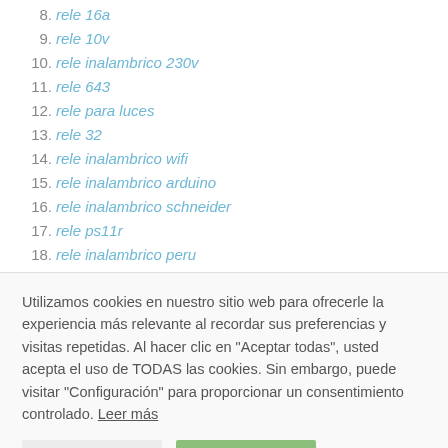8. rele 16a
9. rele 10v
10. rele inalambrico 230v
11. rele 643
12. rele para luces
13. rele 32
14. rele inalambrico wifi
15. rele inalambrico arduino
16. rele inalambrico schneider
17. rele ps11r
18. rele inalambrico peru
Utilizamos cookies en nuestro sitio web para ofrecerle la experiencia más relevante al recordar sus preferencias y visitas repetidas. Al hacer clic en "Aceptar todas", usted acepta el uso de TODAS las cookies. Sin embargo, puede visitar "Configuración" para proporcionar un consentimiento controlado. Leer más
Configuración | Aceptar todo